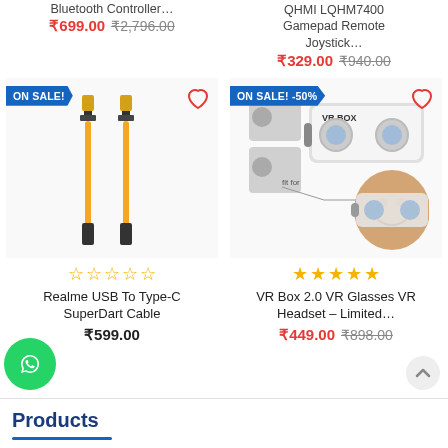Bluetooth Controller... ₹699.00  ₹2,796.00
QHMI LQHM7400 Gamepad Remote Joystick... ₹329.00  ₹940.00
[Figure (photo): Realme USB To Type-C SuperDart Cable product image - two yellow flat USB cables with gold connectors, ON SALE! badge]
[Figure (photo): VR Box 2.0 VR Glasses VR Headset product image with person wearing headset, ON SALE! -50% badge]
Realme USB To Type-C SuperDart Cable
₹599.00
VR Box 2.0 VR Glasses VR Headset - Limited...
₹449.00  ₹898.00
Products